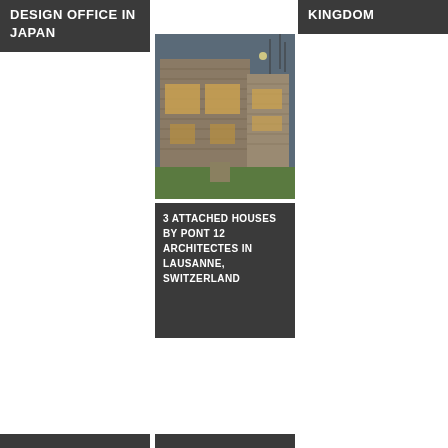DESIGN OFFICE IN JAPAN
KINGDOM
[Figure (photo): Exterior photo of 3 attached modern wooden houses at dusk, with large windows and timber cladding]
3 ATTACHED HOUSES BY PONT 12 ARCHITECTES IN LAUSANNE, SWITZERLAND